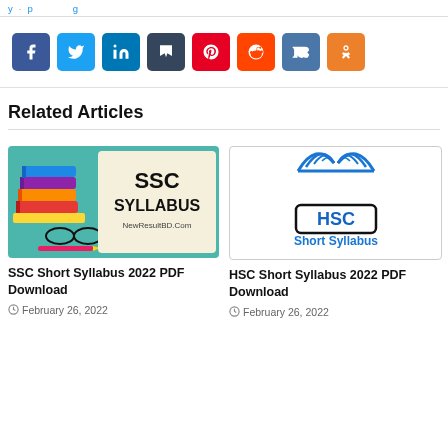[Figure (screenshot): Social media share buttons: Facebook, Twitter, LinkedIn, Tumblr, Pinterest, Reddit, VK, OK (Odnoklassniki)]
Related Articles
[Figure (illustration): SSC Short Syllabus 2022 PDF Download article thumbnail - shows stacked colorful books with glasses and pencil, SSC SYLLABUS text, NewResultBD.Com]
SSC Short Syllabus 2022 PDF Download
February 26, 2022
[Figure (illustration): HSC Short Syllabus 2022 PDF Download article thumbnail - shows open book logo in blue, HSC in blue box, Short Syllabus text]
HSC Short Syllabus 2022 PDF Download
February 26, 2022